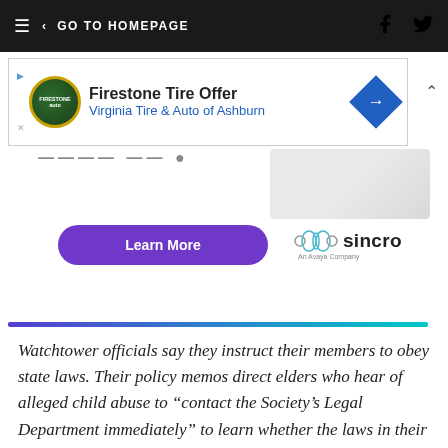≡  < GO TO HOMEPAGE
[Figure (screenshot): Firestone Tire Offer advertisement banner for Virginia Tire & Auto of Ashburn with diamond logo]
[Figure (screenshot): Learn More button (purple pill) and Sincro logo advertisement strip with gradient divider line]
Watchtower officials say they instruct their members to obey state laws. Their policy memos direct elders who hear of alleged child abuse to “contact the Society’s Legal Department immediately” to learn whether the laws in their states require them to notify police.